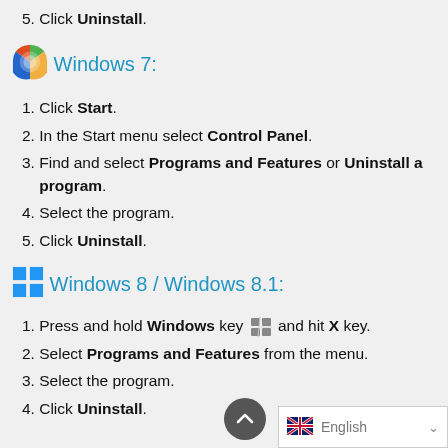5. Click Uninstall.
Windows 7:
1. Click Start.
2. In the Start menu select Control Panel.
3. Find and select Programs and Features or Uninstall a program.
4. Select the program.
5. Click Uninstall.
Windows 8 / Windows 8.1:
1. Press and hold Windows key and hit X key.
2. Select Programs and Features from the menu.
3. Select the program.
4. Click Uninstall.